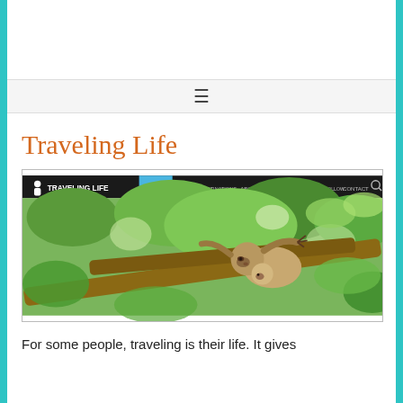Traveling Life
[Figure (screenshot): Screenshot of the Traveling Life website homepage showing a navigation bar with links (HOME, BLOG, DESTINATIONS, ABOUT US, WORK WITH US, BLOGS I FOLLOW, CONTACT) and a hero image of a sloth hanging in a tree with green tropical foliage in the background.]
For some people, traveling is their life. It gives